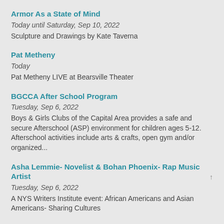Armor As a State of Mind
Today until Saturday, Sep 10, 2022
Sculpture and Drawings by Kate Taverna
Pat Metheny
Today
Pat Metheny LIVE at Bearsville Theater
BGCCA After School Program
Tuesday, Sep 6, 2022
Boys & Girls Clubs of the Capital Area provides a safe and secure Afterschool (ASP) environment for children ages 5-12. Afterschool activities include arts & crafts, open gym and/or organized...
Asha Lemmie- Novelist & Bohan Phoenix- Rap Music Artist
Tuesday, Sep 6, 2022
A NYS Writers Institute event: African Americans and Asian Americans- Sharing Cultures
Irish Sessions at The Olde English Pub